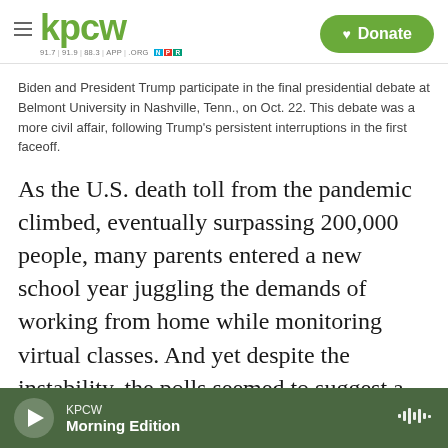KPCW | Donate
Biden and President Trump participate in the final presidential debate at Belmont University in Nashville, Tenn., on Oct. 22. This debate was a more civil affair, following Trump's persistent interruptions in the first faceoff.
As the U.S. death toll from the pandemic climbed, eventually surpassing 200,000 people, many parents entered a new school year juggling the demands of working from home while monitoring virtual classes. And yet despite the instability, the polls seemed to suggest a remarkably stagnant race. Throughout the summer and into the fall, Biden retained a consistent lead in most national
KPCW Morning Edition